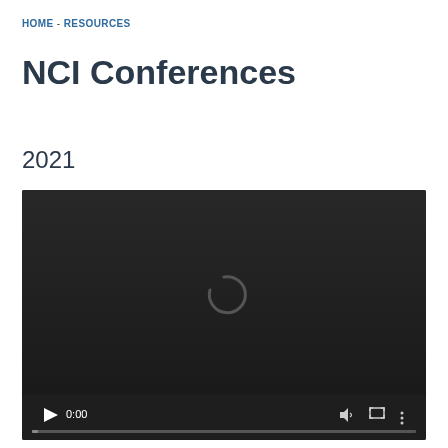HOME - RESOURCES
NCI Conferences
2021
[Figure (screenshot): A video player with dark background showing a loading spinner in the center. Controls at the bottom show a play button, time display '0:00', volume icon, fullscreen icon, and more options icon. A progress bar runs along the bottom.]